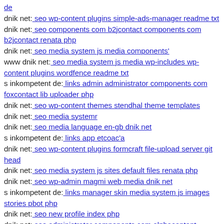de
dnik net: seo wp-content plugins simple-ads-manager readme txt
dnik net: seo components com b2jcontact components com b2jcontact renata php
dnik net: seo media system js media components'
www dnik net: seo media system js media wp-includes wp-content plugins wordfence readme txt
s inkompetent de: links admin administrator components com foxcontact lib uploader php
dnik net: seo wp-content themes stendhal theme templates
dnik net: seo media systemr
dnik net: seo media language en-gb dnik net
s inkompetent de: links app etcoac'a
dnik net: seo wp-content plugins formcraft file-upload server git head
dnik net: seo media system js sites default files renata php
dnik net: seo wp-admin magmi web media dnik net
s inkompetent de: links manager skin media system js images stories pbot php
dnik net: seo new profile index php
dnik net: seo administrator components com alphacontent assetsme
dnik net: seo media components com b2jcontact plugins git head
dnik net: seo media system jscks'ovo
s inkompetent de: links phpthumb components com b2jcontact media dnik net